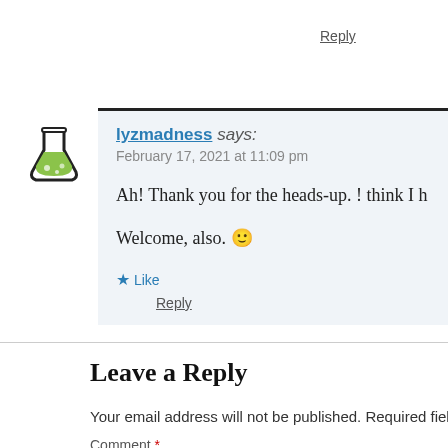Reply
[Figure (illustration): Flask/beaker avatar icon with green liquid, black outline]
lyzmadness says:
February 17, 2021 at 11:09 pm

Ah! Thank you for the heads-up. ! think I h

Welcome, also. 🙂
★ Like
Reply
Leave a Reply
Your email address will not be published. Required fields are m
Comment *